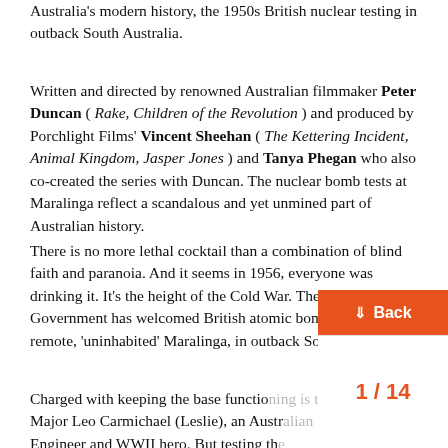Australia's modern history, the 1950s British nuclear testing in outback South Australia.
Written and directed by renowned Australian filmmaker Peter Duncan ( Rake, Children of the Revolution ) and produced by Porchlight Films' Vincent Sheehan ( The Kettering Incident, Animal Kingdom, Jasper Jones ) and Tanya Phegan who also co-created the series with Duncan. The nuclear bomb tests at Maralinga reflect a scandalous and yet unmined part of Australian history.
There is no more lethal cocktail than a combination of blind faith and paranoia. And it seems in 1956, everyone was drinking it. It's the height of the Cold War. The Menzies Government has welcomed British atomic bomb testing at remote, 'uninhabited' Maralinga, in outback South Australia.
Charged with keeping the base functio... Major Leo Carmichael (Leslie), an Austr... Engineer and WWII hero. But testing th...